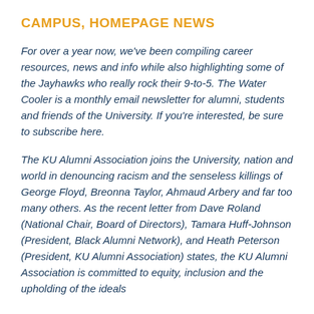CAMPUS, HOMEPAGE NEWS
For over a year now, we've been compiling career resources, news and info while also highlighting some of the Jayhawks who really rock their 9-to-5. The Water Cooler is a monthly email newsletter for alumni, students and friends of the University. If you're interested, be sure to subscribe here.
The KU Alumni Association joins the University, nation and world in denouncing racism and the senseless killings of George Floyd, Breonna Taylor, Ahmaud Arbery and far too many others. As the recent letter from Dave Roland (National Chair, Board of Directors), Tamara Huff-Johnson (President, Black Alumni Network), and Heath Peterson (President, KU Alumni Association) states, the KU Alumni Association is committed to equity, inclusion and the upholding of the ideals